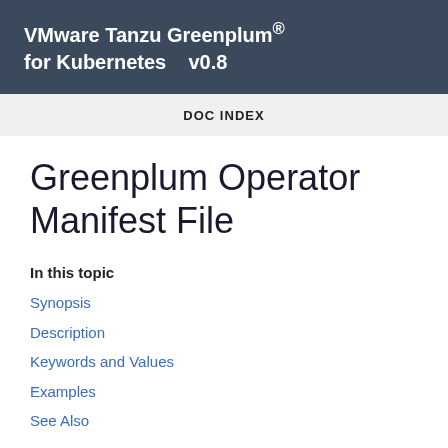VMware Tanzu Greenplum® for Kubernetes    v0.8
DOC INDEX
Greenplum Operator Manifest File
In this topic
Synopsis
Description
Keywords and Values
Examples
See Also